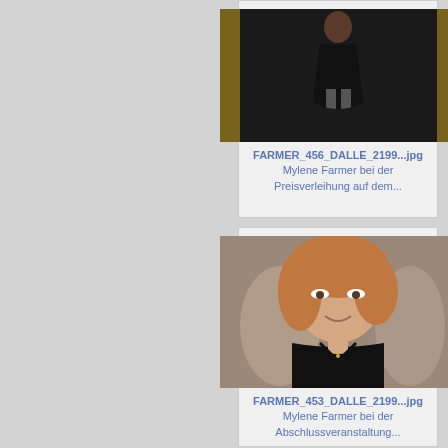[Figure (photo): Photo of Mylene Farmer in a black gown at an awards ceremony on a stage with golden pillars]
FARMER_456_DALLE_2199...jpg
Mylene Farmer bei der Preisverleihung auf dem...
[Figure (photo): Close-up photo of Mylene Farmer smiling, wearing a black top with a necklace, at an event]
FARMER_453_DALLE_2199...jpg
Mylene Farmer bei der Abschlussveranstaltung...